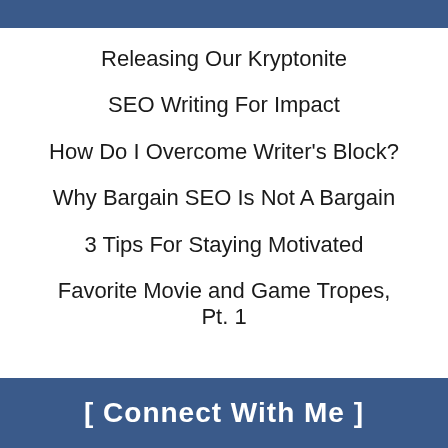Releasing Our Kryptonite
SEO Writing For Impact
How Do I Overcome Writer's Block?
Why Bargain SEO Is Not A Bargain
3 Tips For Staying Motivated
Favorite Movie and Game Tropes, Pt. 1
[ Connect With Me ]